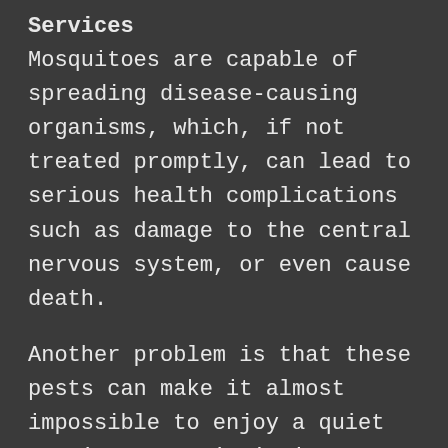Services
Mosquitoes are capable of spreading disease-causing organisms, which, if not treated promptly, can lead to serious health complications such as damage to the central nervous system, or even cause death.
Another problem is that these pests can make it almost impossible to enjoy a quiet evening or a picnic in your backyard because of their distractive nature and unpleasant bites. A+ Termite & Pest Control can provide you with the best mosquito control services to make